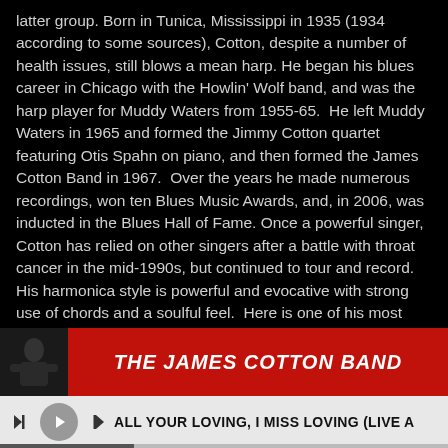latter group. Born in Tunica, Mississippi in 1935 (1934 according to some sources), Cotton, despite a number of health issues, still blows a mean harp. He began his blues career in Chicago with the Howlin' Wolf band, and was the harp player for Muddy Waters from 1955-65. He left Muddy Waters in 1965 and formed the Jimmy Cotton quartet featuring Otis Spahn on piano, and then formed the James Cotton Band in 1967. Over the years he made numerous recordings, won ten Blues Music Awards, and, in 2006, was inducted in the Blues Hall of Fame. Once a powerful singer, Cotton has relied on other singers after a battle with throat cancer in the mid-1990s, but continued to tour and record. His harmonica style is powerful and evocative with strong use of chords and a soulful feel. Here is one of his most distinctive songs.
[Figure (photo): Album art thumbnail on left, red banner with THE JAMES COTTON BAND text on right]
ALL YOUR LOVING, I MISS LOVING (LIVE A